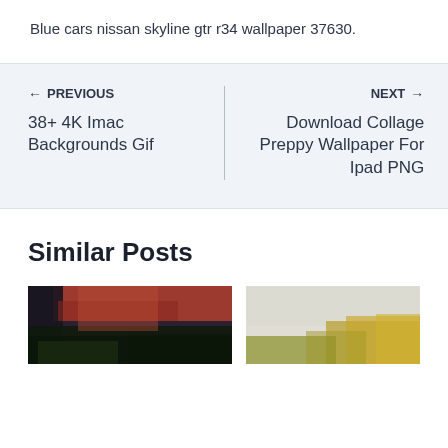Blue cars nissan skyline gtr r34 wallpaper 37630.
← PREVIOUS
38+ 4K Imac Backgrounds Gif
NEXT →
Download Collage Preppy Wallpaper For Ipad PNG
Similar Posts
[Figure (photo): Photo of a dark-colored car with red/maroon bodywork partially visible, with green trees in the background]
[Figure (photo): Photo with light background and golden/yellow foliage visible]